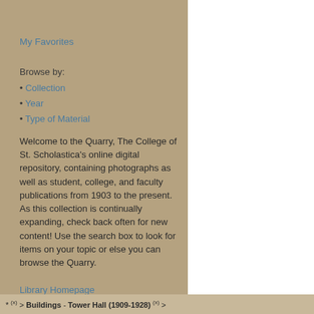My Favorites
Browse by:
• Collection
• Year
• Type of Material
Welcome to the Quarry, The College of St. Scholastica's online digital repository, containing photographs as well as student, college, and faculty publications from 1903 to the present. As this collection is continually expanding, check back often for new content! Use the search box to look for items on your topic or else you can browse the Quarry.
Library Homepage
Archives Homepage
* (x) > Buildings - Tower Hall (1909-1928) (x) >